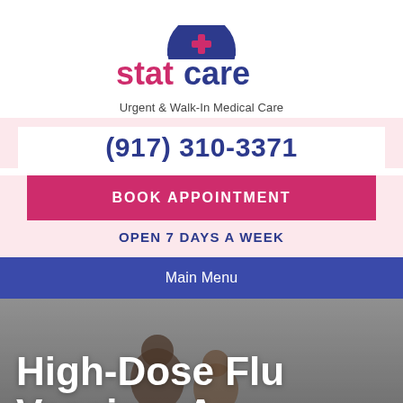[Figure (logo): StatCare logo: dark blue umbrella with red cross, 'stat' in red and 'care' in dark blue large text, with tagline 'Urgent & Walk-In Medical Care']
(917) 310-3371
BOOK APPOINTMENT
OPEN 7 DAYS A WEEK
Main Menu
High-Dose Flu Vaccine: An